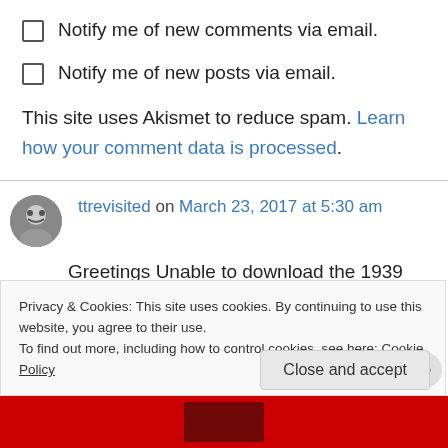Notify me of new comments via email.
Notify me of new posts via email.
This site uses Akismet to reduce spam. Learn how your comment data is processed.
ttrevisited on March 23, 2017 at 5:30 am
Greetings Unable to download the 1939 ISDT video, Is it available elsewhere, does anyone
Privacy & Cookies: This site uses cookies. By continuing to use this website, you agree to their use.
To find out more, including how to control cookies, see here: Cookie Policy
Close and accept